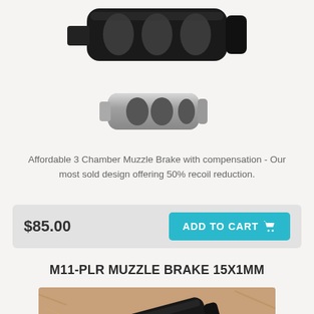[Figure (photo): Black 3 chamber muzzle brake, top view, showing rectangular ports, partially cropped at top of page]
[Figure (photo): Small silver/stainless steel 3 chamber muzzle brake shown from the side]
Affordable 3 Chamber Muzzle Brake with compensation - Our most sold design offering 50% recoil reduction.
$85.00
ADD TO CART
M11-PLR MUZZLE BRAKE 15X1MM
[Figure (photo): Black muzzle brake with ported chambers on a tan/brown furry background, shown at angle]